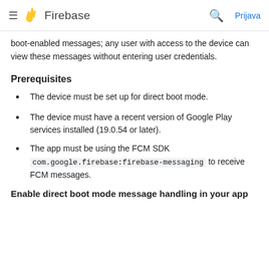Firebase  Prijava
boot-enabled messages; any user with access to the device can view these messages without entering user credentials.
Prerequisites
The device must be set up for direct boot mode.
The device must have a recent version of Google Play services installed (19.0.54 or later).
The app must be using the FCM SDK (com.google.firebase:firebase-messaging) to receive FCM messages.
Enable direct boot mode message handling in your app